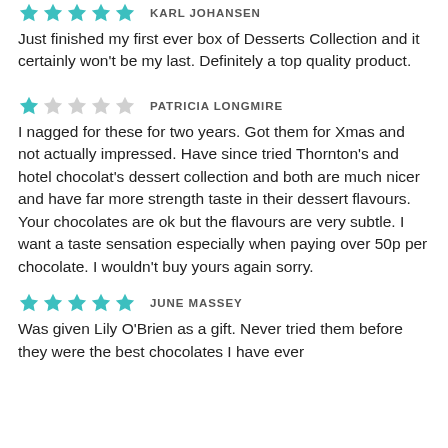★★★★★  KARL JOHANSEN
Just finished my first ever box of Desserts Collection and it certainly won't be my last. Definitely a top quality product.
★☆☆☆☆  PATRICIA LONGMIRE
I nagged for these for two years. Got them for Xmas and not actually impressed. Have since tried Thornton's and hotel chocolat's dessert collection and both are much nicer and have far more strength taste in their dessert flavours. Your chocolates are ok but the flavours are very subtle. I want a taste sensation especially when paying over 50p per chocolate. I wouldn't buy yours again sorry.
★★★★★  JUNE MASSEY
Was given Lily O'Brien as a gift. Never tried them before they were the best chocolates I have ever